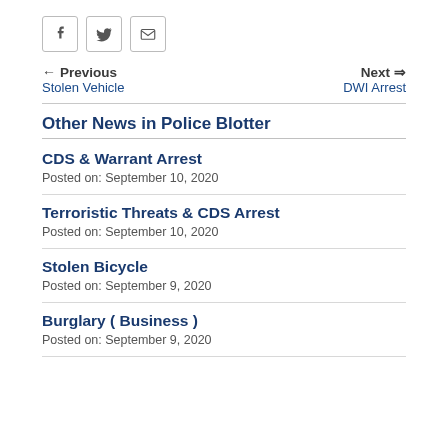[Figure (other): Social sharing icons: Facebook, Twitter, Email]
← Previous Stolen Vehicle   Next → DWI Arrest
Other News in Police Blotter
CDS & Warrant Arrest
Posted on: September 10, 2020
Terroristic Threats & CDS Arrest
Posted on: September 10, 2020
Stolen Bicycle
Posted on: September 9, 2020
Burglary ( Business )
Posted on: September 9, 2020